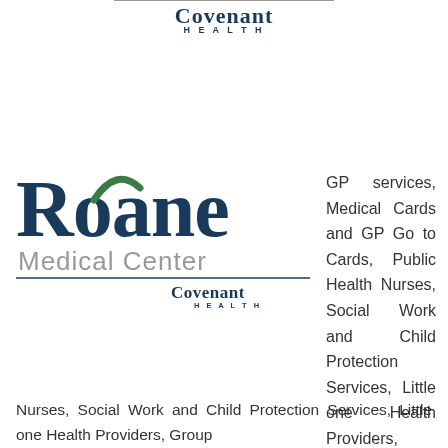Covenant Health
[Figure (logo): Roane Medical Center Covenant Health logo with large dark blue Roane text, green swoosh accent on the O, Medical Center subtitle, underline, and Covenant Health wordmark below]
GP services, Medical Cards and GP Go to Cards, Public Health Nurses, Social Work and Child Protection Services, Little one Health Providers, Group